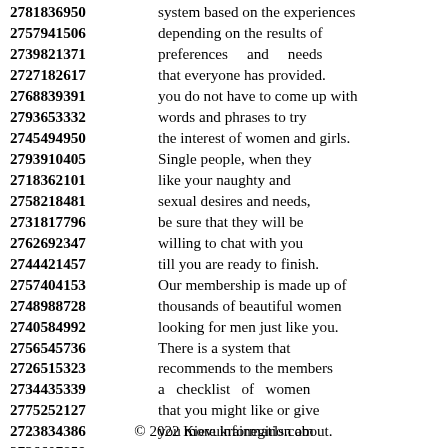2781836950 system based on the experiences
2757941506 depending on the results of
2739821371 preferences and needs
2727182617 that everyone has provided.
2768839391 you do not have to come up with
2793653332 words and phrases to try
2745494950 the interest of women and girls.
2793910405 Single people, when they
2718362101 like your naughty and
2758218481 sexual desires and needs,
2731817796 be sure that they will be
2762692347 willing to chat with you
2744421457 till you are ready to finish.
2757404153 Our membership is made up of
2748988728 thousands of beautiful women
2740584992 looking for men just like you.
2756545736 There is a system that
2726515323 recommends to the members
2734435339 a checklist of women
2775252127 that you might like or give
2723834386 you more information about.
2736607859
© 2022 Kievukrainegirls.com